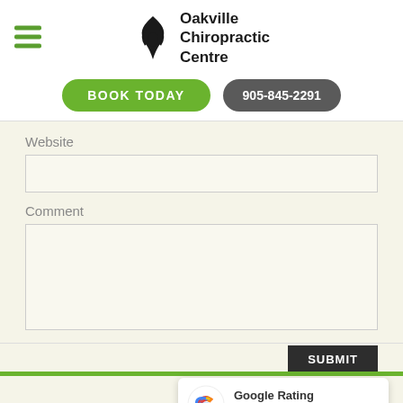[Figure (logo): Oakville Chiropractic Centre logo with hamburger menu icon on the left, flame/leaf icon and bold text on the right]
BOOK TODAY
905-845-2291
Website
Comment
SUBMIT
[Figure (other): Google Rating widget showing 4.9 stars with Google G logo]